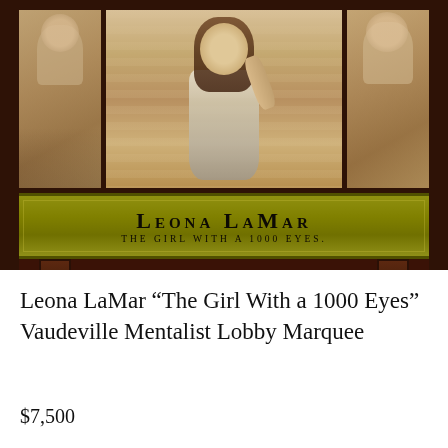[Figure (photo): Antique wooden vaudeville lobby marquee for Leona LaMar 'The Girl With a 1000 Eyes'. Dark mahogany frame with three portrait panels across the top showing period illustrations of women, and a olive/yellow-green painted name band reading 'LEONA LAMAR / THE GIRL WITH A 1000 EYES.' Two wooden legs visible at the bottom.]
Leona LaMar “The Girl With a 1000 Eyes” Vaudeville Mentalist Lobby Marquee
$7,500